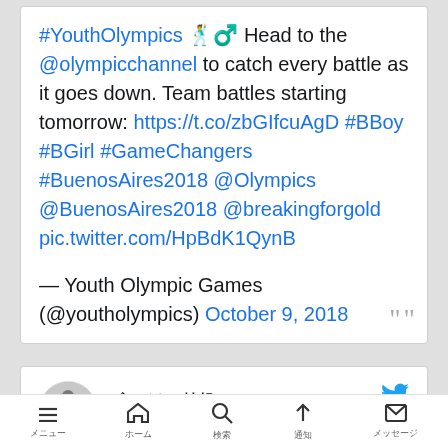#YouthOlympics 🕺♂️ Head to the @olympicchannel to catch every battle as it goes down. Team battles starting tomorrow: https://t.co/zbGIfcuAgD #BBoy #BGirl #GameChangers #BuenosAires2018 @Olympics @BuenosAires2018 @breakingforgold pic.twitter.com/HpBdK1QynB
— Youth Olympic Games (@youtholympics) October 9, 2018
ブレイキン情報@TCB-Yossan @breakdanceblog · ブレイキン情報
Shigekix（シゲキックス）が...
メニュー　ホーム　検索　通知　メッセージ